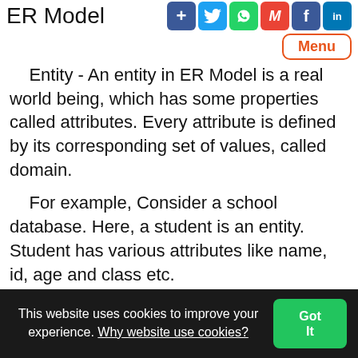ER Model
[Figure (other): Social sharing icons: plus, Twitter, WhatsApp, Gmail, Facebook, LinkedIn]
[Figure (other): Menu button with orange border]
Entity - An entity in ER Model is a real world being, which has some properties called attributes. Every attribute is defined by its corresponding set of values, called domain.
For example, Consider a school database. Here, a student is an entity. Student has various attributes like name, id, age and class etc.
This website uses cookies to improve your experience. Why website use cookies? Got It